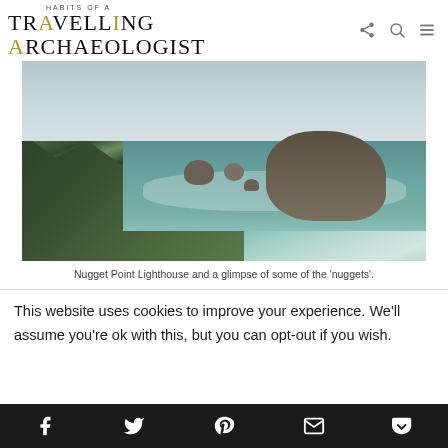HABITS OF A TRAVELLING ARCHAEOLOGIST
[Figure (photo): Coastal landscape photograph showing rocky cliffs with tall grass in the foreground, large rock formations in the sea (the 'nuggets'), and turquoise ocean water at Nugget Point Lighthouse, New Zealand]
Nugget Point Lighthouse and a glimpse of some of the 'nuggets'.
This website uses cookies to improve your experience. We'll assume you're ok with this, but you can opt-out if you wish.
Social share icons: Facebook, Twitter, Pinterest, Email, Pocket